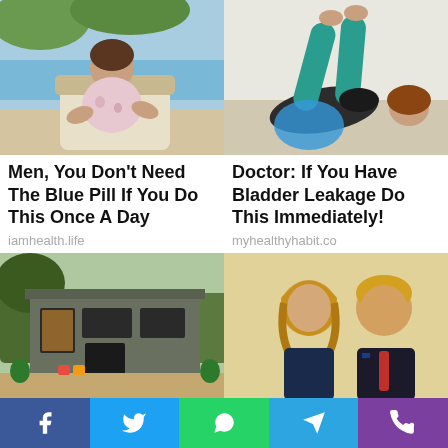[Figure (photo): Woman sitting in chair outdoors near pool, smiling at camera]
Men, You Don't Need The Blue Pill If You Do This Once A Day
iamhealth.life
[Figure (photo): Woman lying on back doing exercise stretches with legs raised, wearing teal leggings]
Doctor: If You Have Bladder Leakage Do This Immediately!
myhealthyhabit.co
[Figure (photo): Small modern gray wood house exterior with large windows and brick patio]
[Pics] This Tiny Wood House Is 240 Sq. Ft., But Wait Till You See The...
[Figure (photo): Melania Trump and Donald Trump posing together for photo]
[Pics] Trump's House Is So Gorgeous, Let's Take A Look Inside